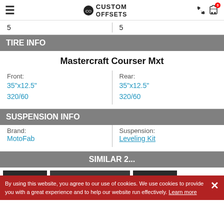Custom Offsets — navigation header with hamburger menu, logo, phone and cart icons
5 | 5
TIRE INFO
Mastercraft Courser Mxt
Front: 35"x12.5" 320/60
Rear: 35"x12.5" 320/60
SUSPENSION INFO
Brand: MotoFab
Suspension: Leveling Kit
SIMILAR 2...
By using this website, you agree to our use of cookies. We use cookies to provide you with a great experience and to help our website run effectively. Learn more
[Figure (photo): Three thumbnail photos of vehicle builds from Custom Offsets gallery]
[Figure (photo): Custom Offsets logo/header image thumbnail]
[Figure (photo): Vehicle build photo thumbnail]
[Figure (photo): Vehicle build photo thumbnail]